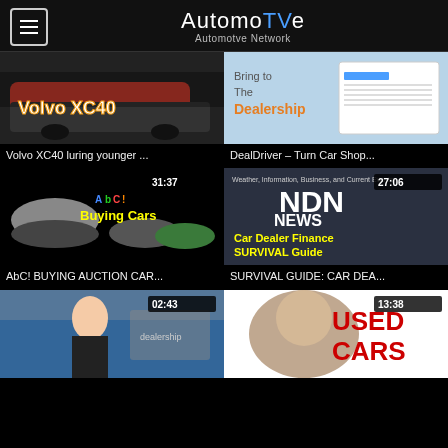AutomoTVe — Automotve Network
[Figure (screenshot): Volvo XC40 car thumbnail with text 'Volvo XC40']
Volvo XC40 luring younger ...
[Figure (screenshot): DealDriver thumbnail - Turn Car Shop...]
DealDriver – Turn Car Shop...
[Figure (screenshot): AbC! Buying Cars auction thumbnail, duration 31:37]
AbC! BUYING AUCTION CAR...
[Figure (screenshot): NDN News Car Dealer Finance Survival Guide, duration 27:06]
SURVIVAL GUIDE: CAR DEA...
[Figure (screenshot): Woman at dealership thumbnail, duration 02:43]
[Figure (screenshot): Used Cars thumbnail with man, duration 13:38]